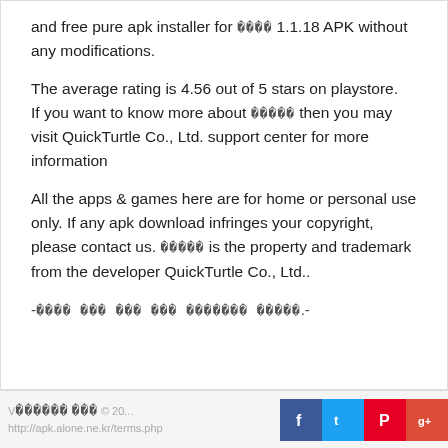and free pure apk installer for [CJK] 1.1.18 APK without any modifications.
The average rating is 4.56 out of 5 stars on playstore.
If you want to know more about [CJK] then you may visit QuickTurtle Co., Ltd. support center for more information
All the apps & games here are for home or personal use only. If any apk download infringes your copyright,
please contact us. [CJK] is the property and trademark from the developer QuickTurtle Co., Ltd..
-[CJK].-
V[CJK] [CJK] © 20...
http://apk.alone.ne.kr/terms.php